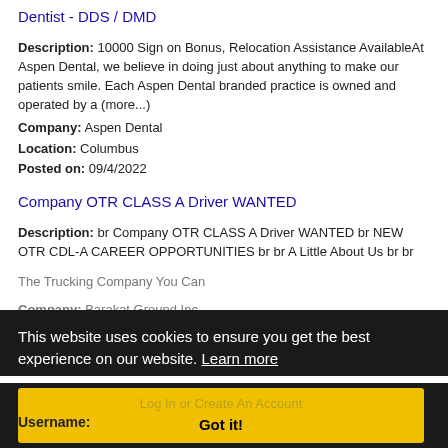Dentist - DDS / DMD
Description: 10000 Sign on Bonus, Relocation Assistance AvailableAt Aspen Dental, we believe in doing just about anything to make our patients smile. Each Aspen Dental branded practice is owned and operated by a (more...)
Company: Aspen Dental
Location: Columbus
Posted on: 09/4/2022
Company OTR CLASS A Driver WANTED
Description: br Company OTR CLASS A Driver WANTED br NEW OTR CDL-A CAREER OPPORTUNITIES br br A Little About Us br br The Trucking Company You Can
Company: Barakat Ground Inc
Location: Columbus
Posted: ...
Loading more jobs...
This website uses cookies to ensure you get the best experience on our website. Learn more
Log In or Create An Account
Got it!
Username: